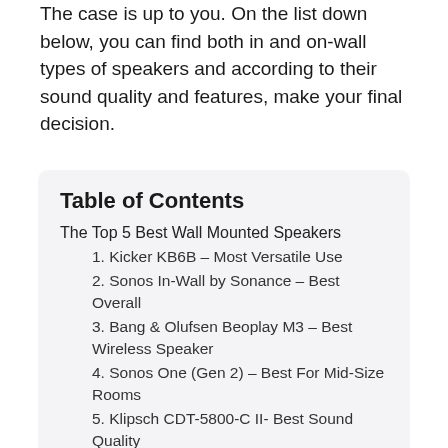The case is up to you. On the list down below, you can find both in and on-wall types of speakers and according to their sound quality and features, make your final decision.
Table of Contents
The Top 5 Best Wall Mounted Speakers
1. Kicker KB6B – Most Versatile Use
2. Sonos In-Wall by Sonance – Best Overall
3. Bang & Olufsen Beoplay M3 – Best Wireless Speaker
4. Sonos One (Gen 2) – Best For Mid-Size Rooms
5. Klipsch CDT-5800-C II- Best Sound Quality
Attention Here! Read These Facts Before